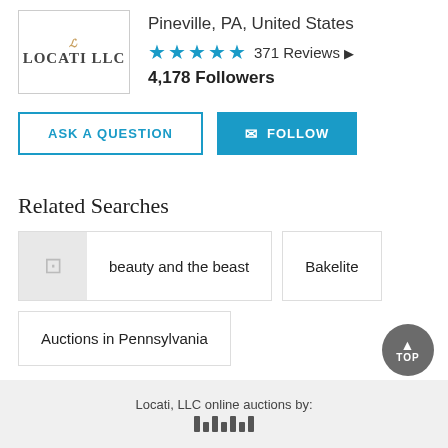[Figure (logo): Locati LLC logo in a bordered box]
Pineville, PA, United States
★★★★★  371 Reviews
4,178 Followers
ASK A QUESTION
✉ FOLLOW
Related Searches
beauty and the beast
Bakelite
Auctions in Pennsylvania
Locati, LLC online auctions by: